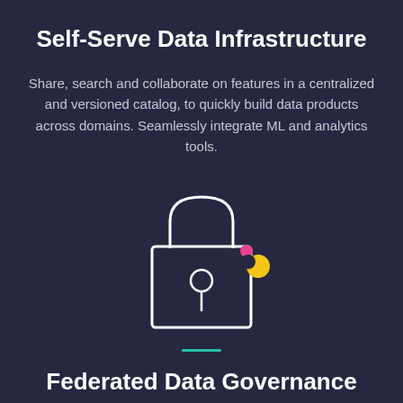Self-Serve Data Infrastructure
Share, search and collaborate on features in a centralized and versioned catalog, to quickly build data products across domains. Seamlessly integrate ML and analytics tools.
[Figure (illustration): A lock icon (padlock) with a square body and rounded shackle at the top, outlined in white on a dark background. Small decorative dots in pink/magenta and yellow appear to the upper right of the lock.]
Federated Data Governance